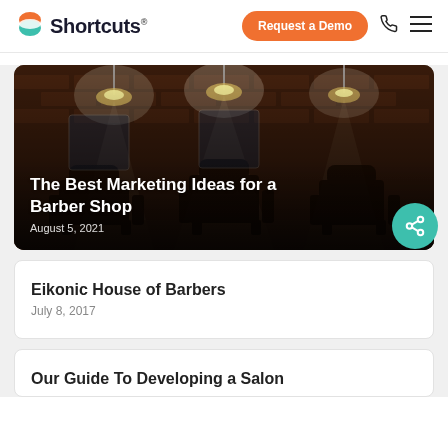Shortcuts | Request a Demo
[Figure (photo): Interior of a barber shop with brick walls and vintage barber chairs under pendant lights. Overlay text: 'The Best Marketing Ideas for a Barber Shop' and 'August 5, 2021']
The Best Marketing Ideas for a Barber Shop
August 5, 2021
Eikonic House of Barbers
July 8, 2017
Our Guide To Developing a Salon